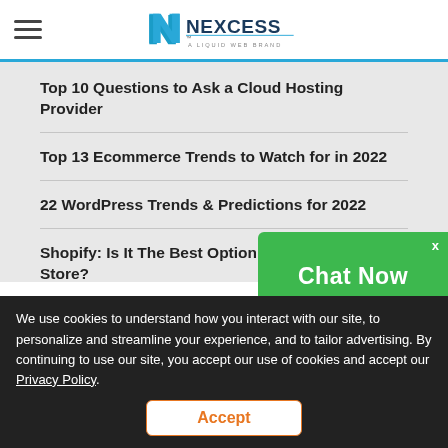NEXCESS — A LIQUID WEB BRAND
Top 10 Questions to Ask a Cloud Hosting Provider
Top 13 Ecommerce Trends to Watch for in 2022
22 WordPress Trends & Predictions for 2022
Shopify: Is It The Best Option For Your Online Store?
[Figure (screenshot): Green 'Chat Now' button overlay in the bottom-right corner with an X close button]
We use cookies to understand how you interact with our site, to personalize and streamline your experience, and to tailor advertising. By continuing to use our site, you accept our use of cookies and accept our Privacy Policy.
Accept